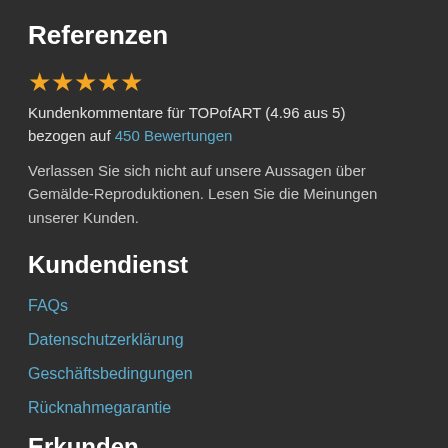Referenzen
★★★★★ Kundenkommentare für TOPofART (4.96 aus 5) bezogen auf 450 Bewertungen
Verlassen Sie sich nicht auf unsere Aussagen über Gemälde-Reproduktionen. Lesen Sie die Meinungen unserer Kunden.
Kundendienst
FAQs
Datenschutzerklärung
Geschäftsbedingungen
Rücknahmegarantie
Erkunden